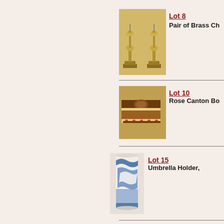[Figure (photo): Pair of brass candlesticks on square bases]
Lot 8
Pair of Brass Ch...
[Figure (photo): Rose Canton decorative box with floral motifs]
Lot 10
Rose Canton Bo...
[Figure (photo): Blue and white porcelain umbrella holder with dragon motif]
Lot 15
Umbrella Holder,...